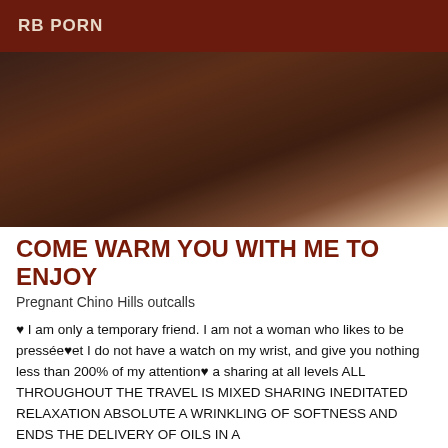RB PORN
[Figure (photo): A person wearing black underwear photographed from above/behind in a suggestive pose.]
COME WARM YOU WITH ME TO ENJOY
Pregnant Chino Hills outcalls
♥ I am only a temporary friend. I am not a woman who likes to be pressée♥et I do not have a watch on my wrist, and give you nothing less than 200% of my attention♥ a sharing at all levels ALL THROUGHOUT THE TRAVEL IS MIXED SHARING INEDITATED RELAXATION ABSOLUTE A WRINKLING OF SOFTNESS AND ENDS THE DELIVERY OF OILS IN A